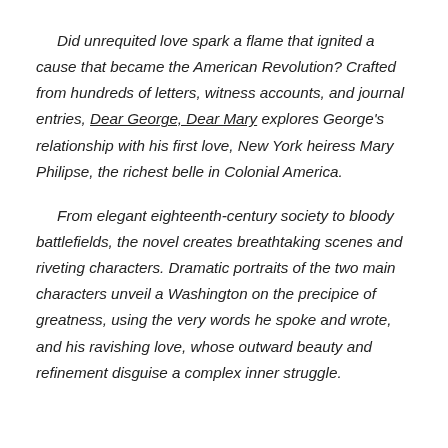Did unrequited love spark a flame that ignited a cause that became the American Revolution? Crafted from hundreds of letters, witness accounts, and journal entries, Dear George, Dear Mary explores George's relationship with his first love, New York heiress Mary Philipse, the richest belle in Colonial America.
From elegant eighteenth-century society to bloody battlefields, the novel creates breathtaking scenes and riveting characters. Dramatic portraits of the two main characters unveil a Washington on the precipice of greatness, using the very words he spoke and wrote, and his ravishing love, whose outward beauty and refinement disguise a complex inner struggle.